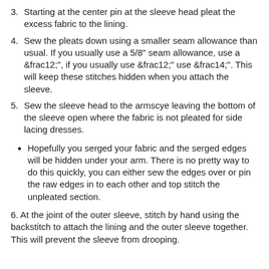3. Starting at the center pin at the sleeve head pleat the excess fabric to the lining.
4. Sew the pleats down using a smaller seam allowance than usual. If you usually use a 5/8" seam allowance, use a ½", if you usually use ½" use ¼". This will keep these stitches hidden when you attach the sleeve.
5. Sew the sleeve head to the armscye leaving the bottom of the sleeve open where the fabric is not pleated for side lacing dresses.
Hopefully you serged your fabric and the serged edges will be hidden under your arm. There is no pretty way to do this quickly, you can either sew the edges over or pin the raw edges in to each other and top stitch the unpleated section.
6. At the joint of the outer sleeve, stitch by hand using the backstitch to attach the lining and the outer sleeve together. This will prevent the sleeve from drooping.